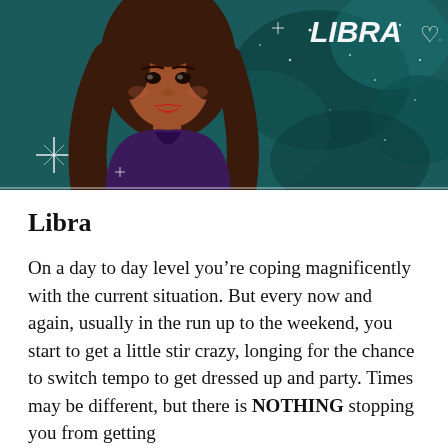[Figure (illustration): Cartoon illustration of a dark-haired woman with red lips wearing a dark purple top, against a teal starry night background with the word LIBRA and a heart in white text, with sparkle effects]
Libra
On a day to day level you’re coping magnificently with the current situation. But every now and again, usually in the run up to the weekend, you start to get a little stir crazy, longing for the chance to switch tempo to get dressed up and party. Times may be different, but there is NOTHING stopping you from getting